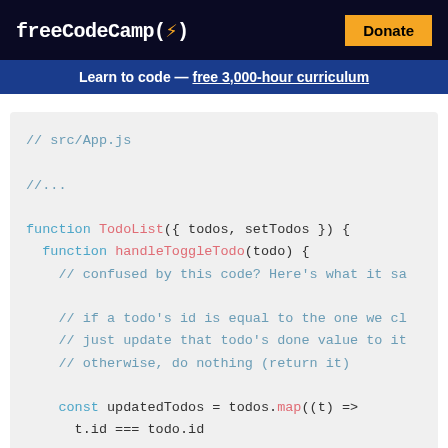freeCodeCamp(🔥)  Donate
Learn to code — free 3,000-hour curriculum
[Figure (screenshot): Code block showing JavaScript function TodoList with handleToggleTodo function, comments, and const updatedTodos map arrow function. File: src/App.js]